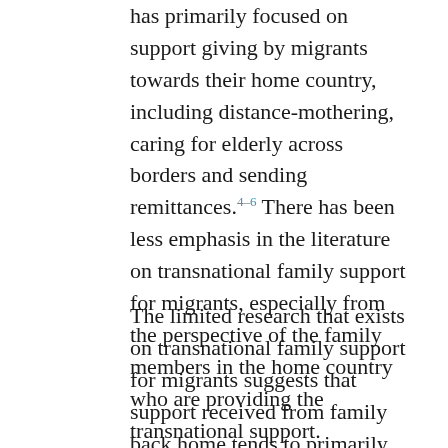has primarily focused on support giving by migrants towards their home country, including distance-mothering, caring for elderly across borders and sending remittances.4–6 There has been less emphasis in the literature on transnational family support for migrants, especially from the perspective of the family members in the home country who are providing the transnational support.
The limited research that exists on transnational family support for migrants suggests that support received from family back home tends to primarily be in the form of psychological and social support, which